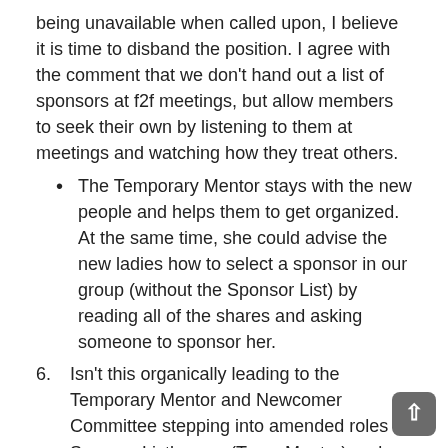being unavailable when called upon, I believe it is time to disband the position. I agree with the comment that we don't hand out a list of sponsors at f2f meetings, but allow members to seek their own by listening to them at meetings and watching how they treat others.
The Temporary Mentor stays with the new people and helps them to get organized. At the same time, she could advise the new ladies how to select a sponsor in our group (without the Sponsor List) by reading all of the shares and asking someone to sponsor her.
Isn't this organically leading to the Temporary Mentor and Newcomer Committee stepping into amended roles of Sponsor Listkeeper (Temp Mentor) and Sponsor list (newcomer committee)?
The temp mentor would send out the initial mail